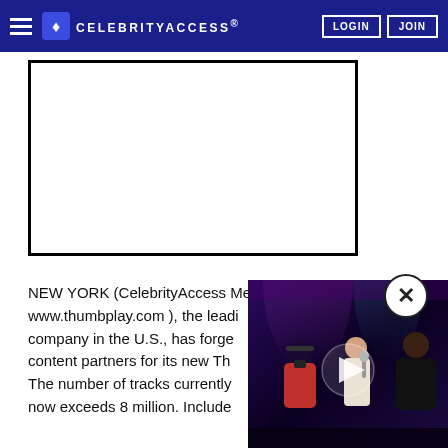CELEBRITYACCESS. LOGIN JOIN
[Figure (other): Advertisement placeholder box with black border]
NEW YORK (CelebrityAccess MediaWire) — Thumbplay ( www.thumbplay.com ), the leading mobile content company in the U.S., has forged content partners for its new Thu... The number of tracks currently now exceeds 8 million. Included
[Figure (photo): Video overlay thumbnail showing performers on stage with purple stage lighting, with a play button and close X button]